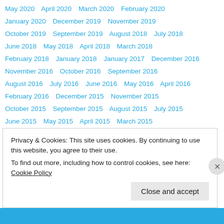May 2020   April 2020   March 2020   February 2020
January 2020   December 2019   November 2019
October 2019   September 2019   August 2018   July 2018
June 2018   May 2018   April 2018   March 2018
February 2018   January 2018   January 2017   December 2016
November 2016   October 2016   September 2016
August 2016   July 2016   June 2016   May 2016   April 2016
February 2016   December 2015   November 2015
October 2015   September 2015   August 2015   July 2015
June 2015   May 2015   April 2015   March 2015
February 2015   January 2015   December 2014
November 2014
Privacy & Cookies: This site uses cookies. By continuing to use this website, you agree to their use. To find out more, including how to control cookies, see here: Cookie Policy
Close and accept